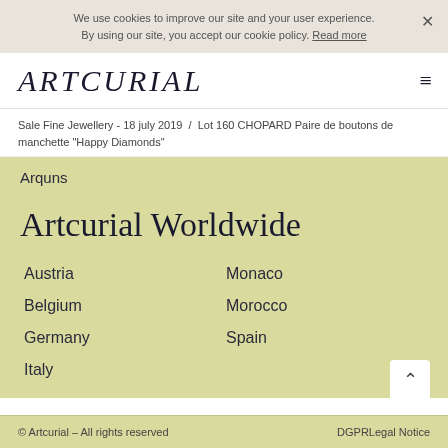We use cookies to improve our site and your user experience. By using our site, you accept our cookie policy. Read more
ARTCURIAL
Sale Fine Jewellery - 18 july 2019 / Lot 160 CHOPARD Paire de boutons de manchette "Happy Diamonds"
Arquns
Artcurial Worldwide
Austria
Monaco
Belgium
Morocco
Germany
Spain
Italy
© Artcurial – All rights reserved DGPRLegal Notice